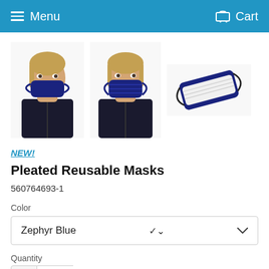Menu  Cart
[Figure (photo): Three product photos of a pleated reusable face mask: two showing a blonde woman wearing a navy blue pleated mask (front and side views), and one showing the mask laid flat revealing navy exterior and white interior with ear loops.]
NEW!
Pleated Reusable Masks
560764693-1
Color
Zephyr Blue
Quantity